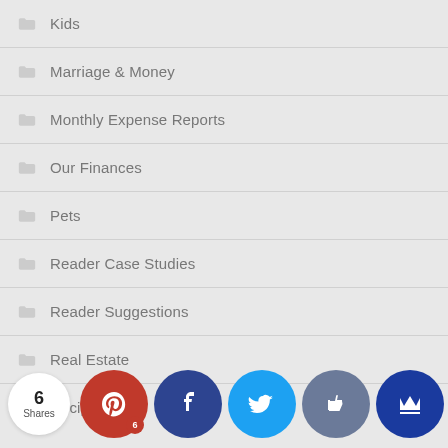Kids
Marriage & Money
Monthly Expense Reports
Our Finances
Pets
Reader Case Studies
Reader Suggestions
Real Estate
Recipes